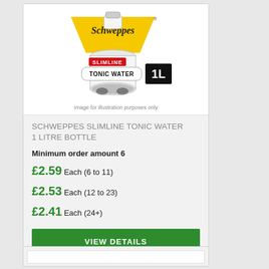[Figure (photo): Schweppes Slimline Tonic Water 1L bottle product image with yellow Schweppes logo banner and red SLIMLINE badge, black 1L label in bottom right]
Image for illustration purposes only
SCHWEPPES SLIMLINE TONIC WATER 1 LITRE BOTTLE
Minimum order amount 6
£2.59 Each (6 to 11)
£2.53 Each (12 to 23)
£2.41 Each (24+)
VIEW DETAILS